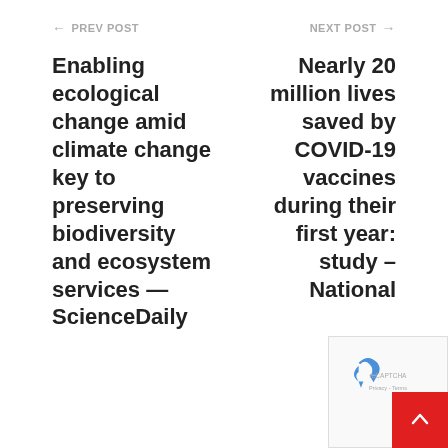← PREV POST
NEXT POST →
Enabling ecological change amid climate change key to preserving biodiversity and ecosystem services — ScienceDaily
Nearly 20 million lives saved by COVID-19 vaccines during their first year: study – National